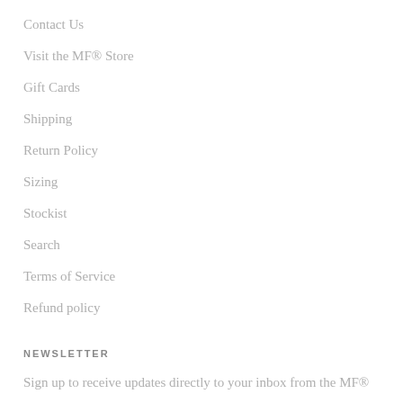Contact Us
Visit the MF® Store
Gift Cards
Shipping
Return Policy
Sizing
Stockist
Search
Terms of Service
Refund policy
NEWSLETTER
Sign up to receive updates directly to your inbox from the MF®